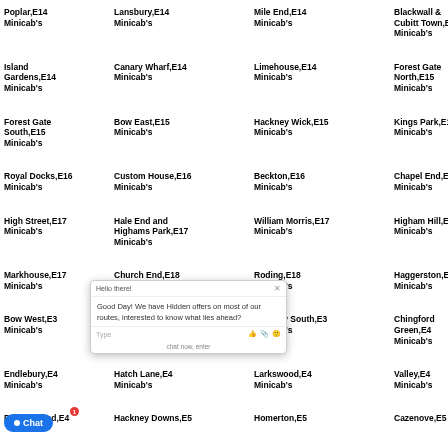Poplar,E14 Minicab's
Lansbury,E14 Minicab's
Mile End,E14 Minicab's
Blackwall & Cubitt Town,E14 Minicab's
Island Gardens,E14 Minicab's
Canary Wharf,E14 Minicab's
Limehouse,E14 Minicab's
Forest Gate North,E15 Minicab's
Forest Gate South,E15 Minicab's
Bow East,E15 Minicab's
Hackney Wick,E15 Minicab's
Kings Park,E15 Minicab's
Royal Docks,E16 Minicab's
Custom House,E16 Minicab's
Beckton,E16 Minicab's
Chapel End,E17 Minicab's
High Street,E17 Minicab's
Hale End and Highams Park,E17 Minicab's
William Morris,E17 Minicab's
Higham Hill,E17 Minicab's
Markhouse,E17 Minicab's
Church End,E18 Minicab's
Roding,E18 Minicab's
Haggerston,E2 Minicab's
Bow West,E3 Minicab's
Bromley North,E3 Minicab's
Bromley South,E3 Minicab's
Chingford Green,E4 Minicab's
Endlebury,E4 Minicab's
Hatch Lane,E4 Minicab's
Larkswood,E4 Minicab's
Valley,E4 Minicab's
Ponders End,E4
Hackney Downs,E5
Homerton,E5
Cazenove,E5